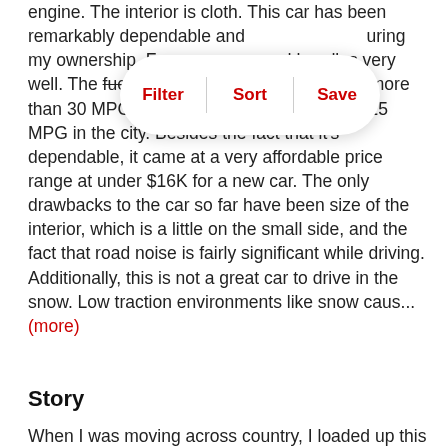engine. The interior is cloth. This car has been remarkably dependable and uring my ownership. Fo y and handles very well. The fuel efficiency is very good getting more than 30 MPG on highway driving and about 25 MPG in the city. Besides the fact that it's dependable, it came at a very affordable price range at under $16K for a new car. The only drawbacks to the car so far have been size of the interior, which is a little on the small side, and the fact that road noise is fairly significant while driving. Additionally, this is not a great car to drive in the snow. Low traction environments like snow caus... (more)
[Figure (screenshot): Filter/Sort/Save popup overlay with three options: Filter, Sort, Save separated by dividers]
Story
When I was moving across country, I loaded up this car with everything I had and drive 1500 miles with it. It handled great the whole trip with no issues.
Pros
[Figure (screenshot): Gray box placeholder area]